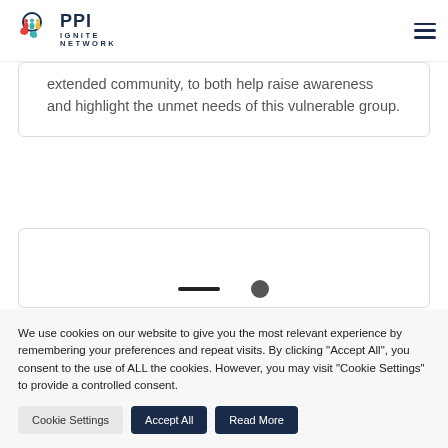PPI IGNITE NETWORK
extended community, to both help raise awareness and highlight the unmet needs of this vulnerable group.
[Figure (other): Partially visible content card with icons at bottom]
We use cookies on our website to give you the most relevant experience by remembering your preferences and repeat visits. By clicking "Accept All", you consent to the use of ALL the cookies. However, you may visit "Cookie Settings" to provide a controlled consent.